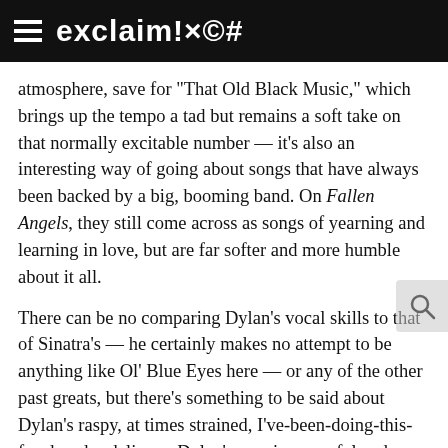exclaim!×©#
atmosphere, save for "That Old Black Music," which brings up the tempo a tad but remains a soft take on that normally excitable number — it's also an interesting way of going about songs that have always been backed by a big, booming band. On Fallen Angels, they still come across as songs of yearning and learning in love, but are far softer and more humble about it all.
There can be no comparing Dylan's vocal skills to that of Sinatra's — he certainly makes no attempt to be anything like Ol' Blue Eyes here — or any of the other past greats, but there's something to be said about Dylan's raspy, at times strained, I've-been-doing-this-for-decades delivery. Dylan's rasp is powerful and poignant when he sings "With all your faults, I love you still" in "It Had To Be You," and on this project, a love letter to a time when songs were hopelessly and unabashedly romantic, Dylan